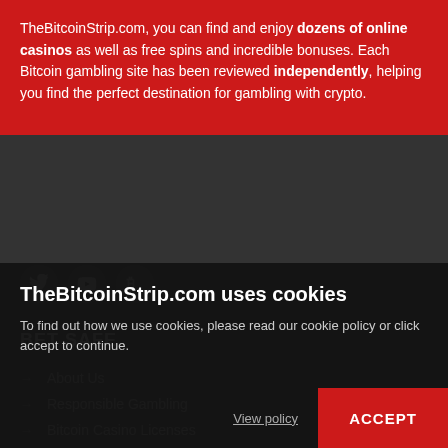TheBitcoinStrip.com, you can find and enjoy dozens of online casinos as well as free spins and incredible bonuses. Each Bitcoin gambling site has been reviewed independently, helping you find the perfect destination for gambling with crypto.
[Figure (other): Social media icons: Twitter bird, YouTube play button, Bitcoin symbol]
BET SAFE
→ About Us
→ Responsible Gambling
→ Bitcoin Casino Licenses
→ Contact Us
→ Terms & Conditions
→ Privacy Policy
TheBitcoinStrip.com uses cookies
To find out how we use cookies, please read our cookie policy or click accept to continue.
View policy
ACCEPT